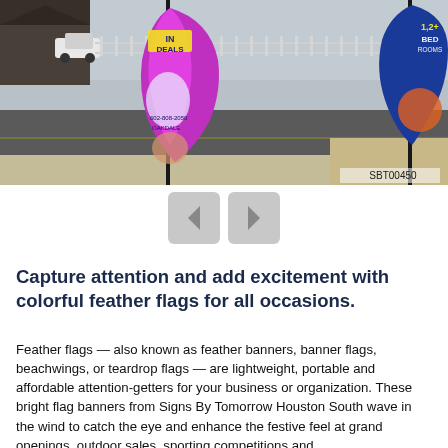[Figure (photo): Outdoor photo of feather/banner flags on poles along a roadside. A purple and yellow flag with text '602-808-2050 OAKDALE' and a partial blue/orange flag visible on right. Photo code SBT00450 in bottom-right corner.]
[Figure (other): Image navigation buttons: left arrow chevron and right arrow chevron, gray rounded square buttons.]
Capture attention and add excitement with colorful feather flags for all occasions.
Feather flags — also known as feather banners, banner flags, beachwings, or teardrop flags — are lightweight, portable and affordable attention-getters for your business or organization. These bright flag banners from Signs By Tomorrow Houston South wave in the wind to catch the eye and enhance the festive feel at grand openings, outdoor sales, sporting competitions and